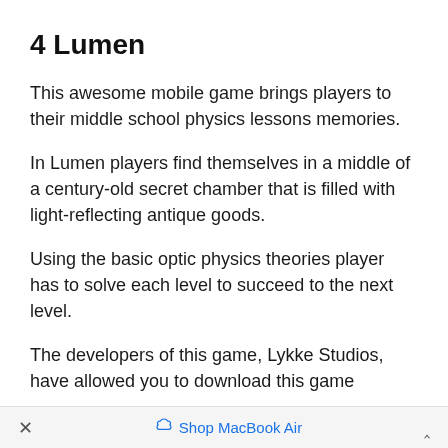4 Lumen
This awesome mobile game brings players to their middle school physics lessons memories.
In Lumen players find themselves in a middle of a century-old secret chamber that is filled with light-reflecting antique goods.
Using the basic optic physics theories player has to solve each level to succeed to the next level.
The developers of this game, Lykke Studios, have allowed you to download this game
× Shop MacBook Air ^